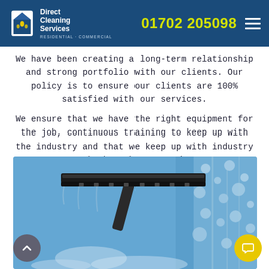Direct Cleaning Services — RESIDENTIAL + COMMERCIAL | 01702 205098
We have been creating a long-term relationship and strong portfolio with our clients. Our policy is to ensure our clients are 100% satisfied with our services.
We ensure that we have the right equipment for the job, continuous training to keep up with the industry and that we keep up with industry standards and expectations.
[Figure (photo): A window squeegee/scraper cleaning a soapy glass surface against a blue sky background, with soapy water and suds visible.]